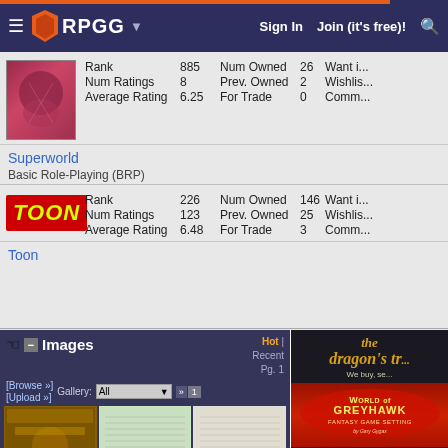RPGG | Sign In | Join (it's free)!
|  | Stat | Value | Stat | Value | Extra |
| --- | --- | --- | --- | --- | --- |
| [Superworld image] | Rank | 885 | Num Owned | 26 | Want in |
|  | Num Ratings | 8 | Prev. Owned | 2 | Wishlis |
|  | Average Rating | 6.25 | For Trade | 0 | Comm |
Superworld
Basic Role-Playing (BRP)
|  | Stat | Value | Stat | Value | Extra |
| --- | --- | --- | --- | --- | --- |
| [Toon logo] | Rank | 226 | Num Owned | 146 | Want in |
|  | Num Ratings | 123 | Prev. Owned | 25 | Wishlis |
|  | Average Rating | 6.48 | For Trade | 3 | Comm |
Toon
Images
Hot | Recent | Pg. 1
[Browse »] [Upload »] Gallery: All
[Figure (screenshot): Three thumbnail images from the RPGG image gallery]
[Figure (photo): Advertisement: The Dragon's ... We buy, se... World of Greyhawk Fantasy Game Setting]